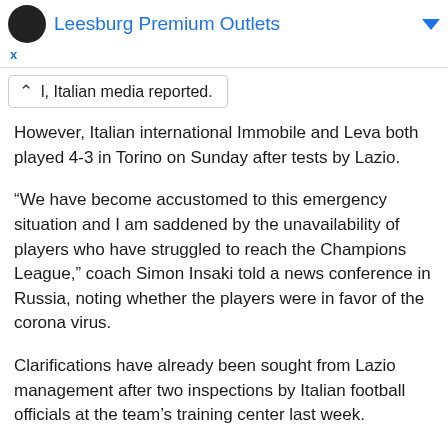Leesburg Premium Outlets
l, Italian media reported.
However, Italian international Immobile and Leva both played 4-3 in Torino on Sunday after tests by Lazio.
“We have become accustomed to this emergency situation and I am saddened by the unavailability of players who have struggled to reach the Champions League,” coach Simon Insaki told a news conference in Russia, noting whether the players were in favor of the corona virus.
Clarifications have already been sought from Lazio management after two inspections by Italian football officials at the team’s training center last week.